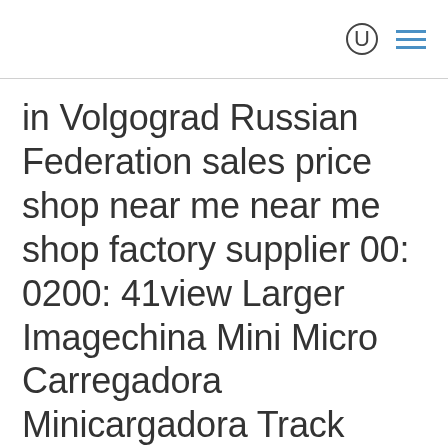in Volgograd Russian Federation sales price shop near me near me shop factory supplier 00: 0200: 41view Larger Imagechina Mini Micro Carregadora Minicargadora Track Hydraulic Shovel Auger Fork Front End Skid Steer Loader for Cheap